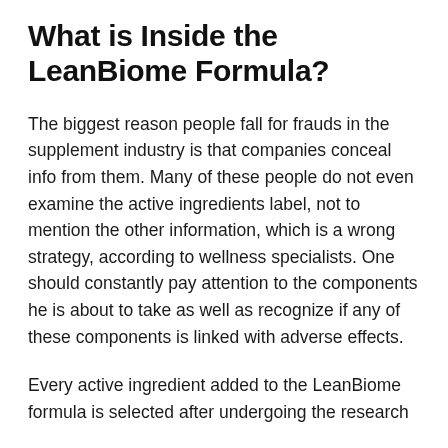What is Inside the LeanBiome Formula?
The biggest reason people fall for frauds in the supplement industry is that companies conceal info from them. Many of these people do not even examine the active ingredients label, not to mention the other information, which is a wrong strategy, according to wellness specialists. One should constantly pay attention to the components he is about to take as well as recognize if any of these components is linked with adverse effects.
Every active ingredient added to the LeanBiome formula is selected after undergoing the research